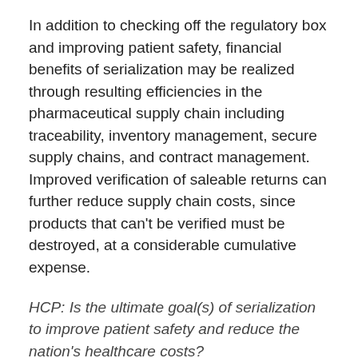In addition to checking off the regulatory box and improving patient safety, financial benefits of serialization may be realized through resulting efficiencies in the pharmaceutical supply chain including traceability, inventory management, secure supply chains, and contract management. Improved verification of saleable returns can further reduce supply chain costs, since products that can't be verified must be destroyed, at a considerable cumulative expense.
HCP: Is the ultimate goal(s) of serialization to improve patient safety and reduce the nation's healthcare costs?
Peter Sturtevant: Most regulatory control in